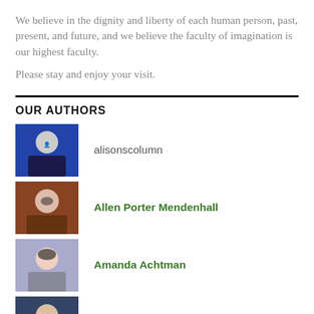We believe in the dignity and liberty of each human person, past, present, and future, and we believe the faculty of imagination is our highest faculty.
Please stay and enjoy your visit.
OUR AUTHORS
alisonscolumn
Allen Porter Mendenhall
Amanda Achtman
Alexander William Salter
Richard K. Munro (Auld Munro)